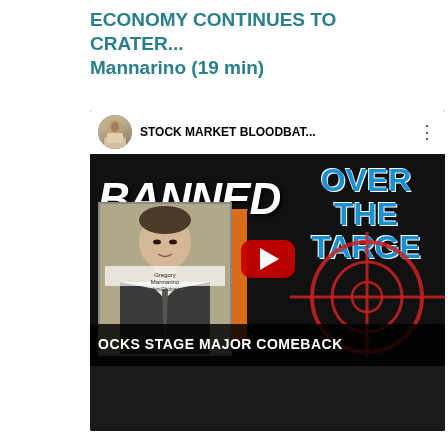ECONOMY CONTINUES TO CRATER... Mannarino (19 min)
[Figure (screenshot): YouTube video embed showing 'STOCK MARKET BLOODBAT...' with thumbnail of man labeled 'BANNED' and 'OVER THE TARGET' text with crosshair, lower caption reads 'OCKS STAGE MAJOR COMEBACK'. Below is a second dark video thumbnail.]